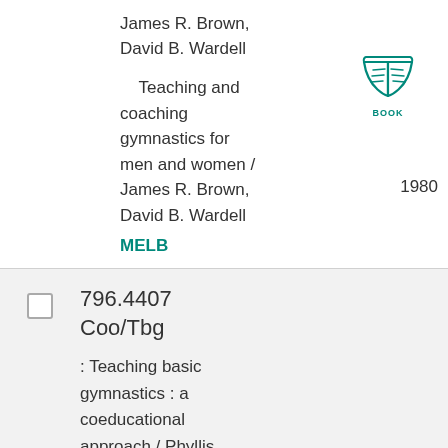James R. Brown, David B. Wardell
Teaching and coaching gymnastics for men and women / James R. Brown, David B. Wardell
[Figure (illustration): Open book icon in teal with label BOOK underneath]
1980
MELB
796.4407 Coo/Tbg
: Teaching basic gymnastics : a coeducational approach / Phyllis S. Cooper, Milan Trnka ; illustrated by A. Bruce